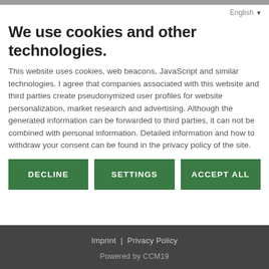English
We use cookies and other technologies.
This website uses cookies, web beacons, JavaScript and similar technologies. I agree that companies associated with this website and third parties create pseudonymized user profiles for website personalization, market research and advertising. Although the generated information can be forwarded to third parties, it can not be combined with personal information. Detailed information and how to withdraw your consent can be found in the privacy policy of the site.
DECLINE
SETTINGS
ACCEPT ALL
Imprint  |  Privacy Policy
Powered by CCM19